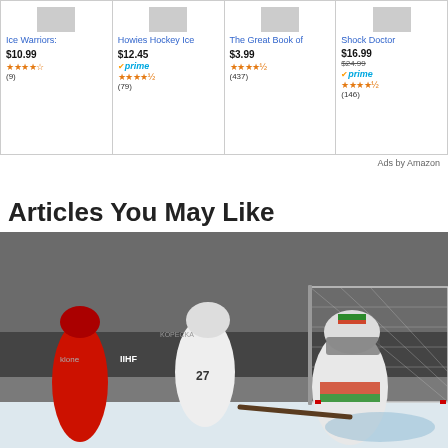[Figure (other): Amazon product ads row showing four hockey-related products: Ice Warriors ($10.99, 4 stars, 9 reviews), Howies Hockey Ice ($12.45, Prime, 4.5 stars, 79 reviews), The Great Book of ($3.99, 4.5 stars, 437 reviews), Shock Doctor ($16.99 sale from $24.99, Prime, 4.5 stars, 146 reviews)]
Ads by Amazon
Articles You May Like
[Figure (photo): Ice hockey game photo showing players in action near the goal. A Hungarian goalie in white, red, and green gear is in the crease, while a player wearing number 27 in white challenges a red-uniformed opponent. A hockey net is visible in the background with advertising boards.]